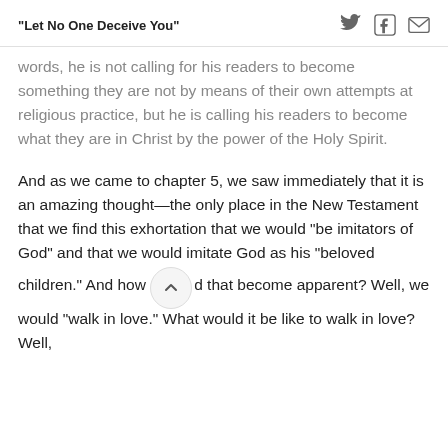“Let No One Deceive You”
words, he is not calling for his readers to become something they are not by means of their own attempts at religious practice, but he is calling his readers to become what they are in Christ by the power of the Holy Spirit.
And as we came to chapter 5, we saw immediately that it is an amazing thought—the only place in the New Testament that we find this exhortation that we would “be imitators of God” and that we would imitate God as his “beloved children.” And how would that become apparent? Well, we would “walk in love.” What would it be like to walk in love? Well,